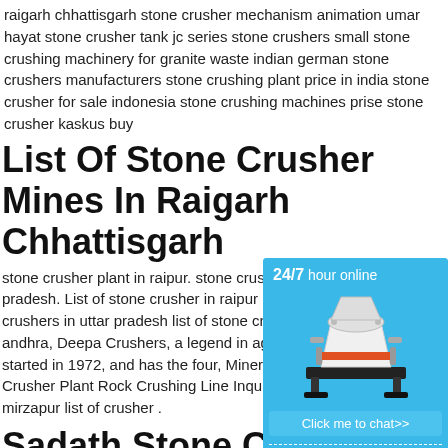raigarh chhattisgarh stone crusher mechanism animation umar hayat stone crusher tank jc series stone crushers small stone crushing machinery for granite waste indian german stone crushers manufacturers stone crushing plant price in india stone crusher for sale indonesia stone crushing machines prise stone crusher kaskus buy
List Of Stone Crusher Mines In Raigarh Chhattisgarh
stone crusher plant in raipur. stone crusher pradesh. List of stone crusher in raipur uttar crushers in uttar pradesh list of stone crush andhra, Deepa Crushers, a legend in aggre started in 1972, and has the four, Mineral P Crusher Plant Rock Crushing Line Inquiry U mirzapur list of crusher .
[Figure (illustration): Sidebar widget with blue background showing a stone crusher machine image, '24/7 hour online' header text, 'Click me to chat>>' button, 'Enquiry' section, and 'limingjlmofen' text at bottom]
Sadath Stone Crusher / Crusher
Stone Crusherplant In Janjgir Champa Iraq limingjlmofen r